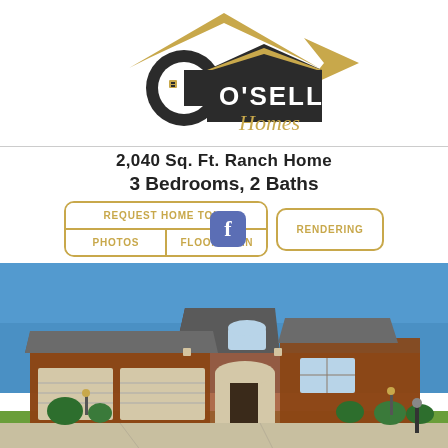[Figure (logo): O'Sell Homes logo with house roofline graphic in black and gold]
2,040 Sq. Ft. Ranch Home
3 Bedrooms, 2 Baths
[Figure (infographic): Navigation buttons: REQUEST HOME TOUR, PHOTOS, FLOOR PLAN, Facebook icon, RENDERING]
[Figure (photo): Exterior photo of a brick ranch home with three-car garage, stone accents, arched entry, and blue sky background]